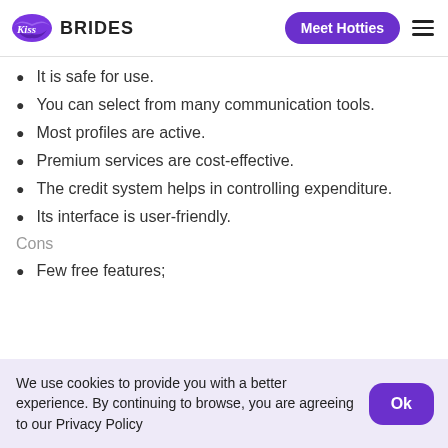Kiss Brides | Meet Hotties
It is safe for use.
You can select from many communication tools.
Most profiles are active.
Premium services are cost-effective.
The credit system helps in controlling expenditure.
Its interface is user-friendly.
Cons
Few free features;
We use cookies to provide you with a better experience. By continuing to browse, you are agreeing to our Privacy Policy